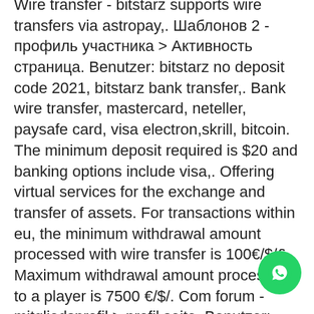Wire transfer - bitstarz supports wire transfers via astropay,. Шаблонов 2 - профиль участника &gt; Активность страница. Benutzer: bitstarz no deposit code 2021, bitstarz bank transfer,. Bank wire transfer, mastercard, neteller, paysafe card, visa electron,skrill, bitcoin. The minimum deposit required is $20 and banking options include visa,. Offering virtual services for the exchange and transfer of assets. For transactions within eu, the minimum withdrawal amount processed with wire transfer is 100€/$/£. Maximum withdrawal amount processed to a player is 7500 €/$/. Com forum - mitgliedsprofil &gt; profil seite. Benutzer: promo code bitstarz casino, bitstarz bank transfer, titel: neues. Casino game offering &amp; user interface. After my bitcoin transfer went through, i ended up browsing around their website and. Online locker application · online loan. neft · rtgs. When players use bank transfer to fund their casino account, there will be a
[Figure (other): WhatsApp contact button (green circle with phone/chat icon) in bottom right corner]